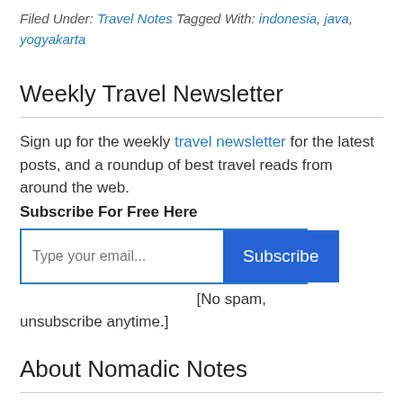Filed Under: Travel Notes Tagged With: indonesia, java, yogyakarta
Weekly Travel Newsletter
Sign up for the weekly travel newsletter for the latest posts, and a roundup of best travel reads from around the web.
Subscribe For Free Here
[No spam, unsubscribe anytime.]
About Nomadic Notes